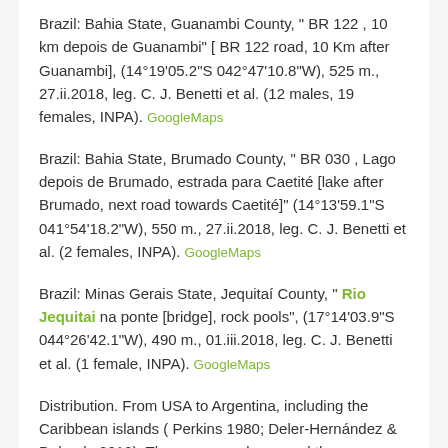Brazil: Bahia State, Guanambi County, " BR 122 , 10 km depois de Guanambi" [ BR 122 road, 10 Km after Guanambi], (14°19'05.2"S 042°47'10.8"W), 525 m., 27.ii.2018, leg. C. J. Benetti et al. (12 males, 19 females, INPA).  GoogleMaps
Brazil: Bahia State, Brumado County, " BR 030 , Lago depois de Brumado, estrada para Caetité [lake after Brumado, next road towards Caetité]" (14°13'59.1"S 041°54'18.2"W), 550 m., 27.ii.2018, leg. C. J. Benetti et al. (2 females, INPA).  GoogleMaps
Brazil: Minas Gerais State, Jequitaí County, " Rio Jequitai na ponte [bridge], rock pools", (17°14'03.9"S 044°26'42.1"W), 490 m., 01.iii.2018, leg. C. J. Benetti et al. (1 female, INPA).  GoogleMaps
Distribution. From USA to Argentina, including the Caribbean islands ( Perkins 1980; Deler-Hernández & Delgado 2012). The new records expand the distribution of this species in Brazil, to northern